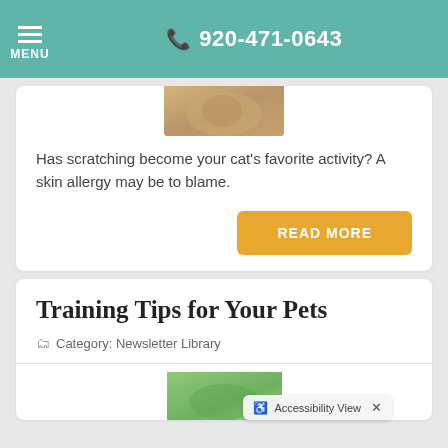MENU  920-471-0643
[Figure (photo): Partial image of a cat, cropped at the top of the page]
Has scratching become your cat's favorite activity? A skin allergy may be to blame.
READ MORE
Training Tips for Your Pets
Category: Newsletter Library
[Figure (photo): Partial image of a person with a dog outdoors, cropped at the bottom]
Accessibility View  X